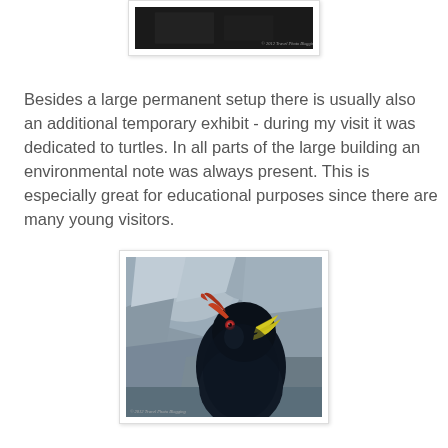[Figure (photo): Partial top of a photo with dark/black background, watermark text in bottom right corner reading '© 2012 Travel Photo Blogging']
Besides a large permanent setup there is usually also an additional temporary exhibit - during my visit it was dedicated to turtles. In all parts of the large building an environmental note was always present. This is especially great for educational purposes since there are many young visitors.
[Figure (photo): Close-up photograph of a rockhopper penguin looking upward, with rocky background. The penguin has dark black feathers, a red-orange beak, red eye, and yellow plume feathers on the side of its head. Watermark text in bottom left.]